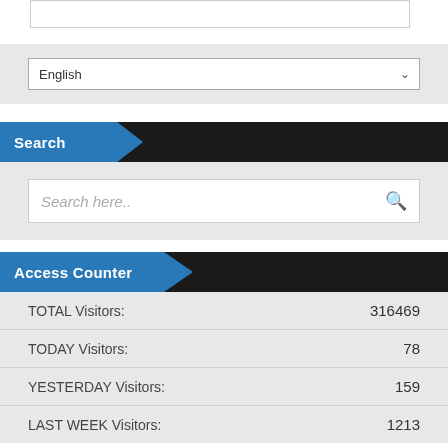[Figure (screenshot): Top border box element (partial UI)]
[Figure (screenshot): Language selector dropdown showing 'English']
Search
[Figure (screenshot): Search input field with placeholder 'Search here..' and magnifying glass icon]
Access Counter
| Label | Count |
| --- | --- |
| TOTAL Visitors: | 316469 |
| TODAY Visitors: | 78 |
| YESTERDAY Visitors: | 159 |
| LAST WEEK Visitors: | 1213 |